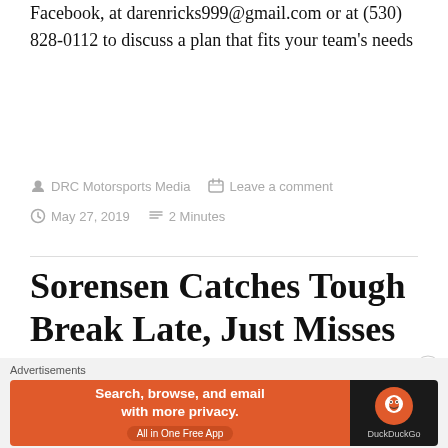Facebook, at darenricks999@gmail.com or at (530) 828-0112 to discuss a plan that fits your team's needs
DRC Motorsports Media   Leave a comment
May 27, 2019   2 Minutes
Sorensen Catches Tough Break Late, Just Misses Out on 3rd Straight Win
[Figure (photo): Partial image strip at bottom of article, partially visible]
Advertisements
[Figure (other): DuckDuckGo advertisement banner: 'Search, browse, and email with more privacy. All in One Free App']